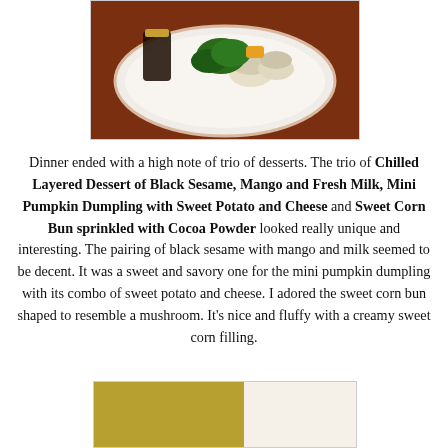[Figure (photo): A white plate with trio of desserts including what appears to be mushroom-shaped buns, green garnish (kale/parsley), and various dessert items on a dark reddish background]
Dinner ended with a high note of trio of desserts. The trio of Chilled Layered Dessert of Black Sesame, Mango and Fresh Milk, Mini Pumpkin Dumpling with Sweet Potato and Cheese and Sweet Corn Bun sprinkled with Cocoa Powder looked really unique and interesting. The pairing of black sesame with mango and milk seemed to be decent. It was a sweet and savory one for the mini pumpkin dumpling with its combo of sweet potato and cheese. I adored the sweet corn bun shaped to resemble a mushroom. It’s nice and fluffy with a creamy sweet corn filling.
[Figure (photo): Partial view of a golden/olive colored rectangular item, likely a food item or packaging, partially cropped at the bottom of the page]